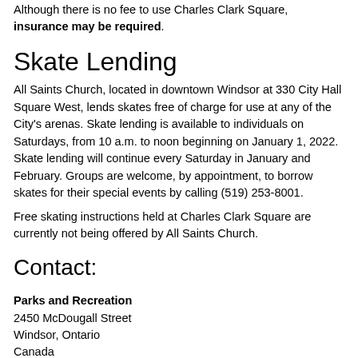Although there is no fee to use Charles Clark Square, insurance may be required.
Skate Lending
All Saints Church, located in downtown Windsor at 330 City Hall Square West, lends skates free of charge for use at any of the City's arenas. Skate lending is available to individuals on Saturdays, from 10 a.m. to noon beginning on January 1, 2022. Skate lending will continue every Saturday in January and February. Groups are welcome, by appointment, to borrow skates for their special events by calling (519) 253-8001.
Free skating instructions held at Charles Clark Square are currently not being offered by All Saints Church.
Contact:
Parks and Recreation
2450 McDougall Street
Windsor, Ontario
Canada
N8X 3N6